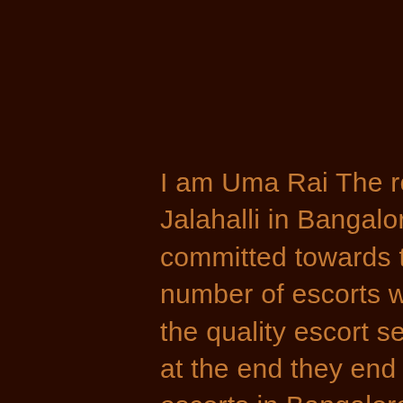I am Uma Rai The real independent escort near Jalahalli in Bangalore city. Myself highly loyal and committed towards the customers. There is a huge number of escorts who often tell or claim of providing the quality escort service in Jalahalli, Bangalore but at the end they end up giving false claims. These escorts in Bangalore have tacit the consequence of committed services which means giving professional, exotic and top-class services. This is the motive one would